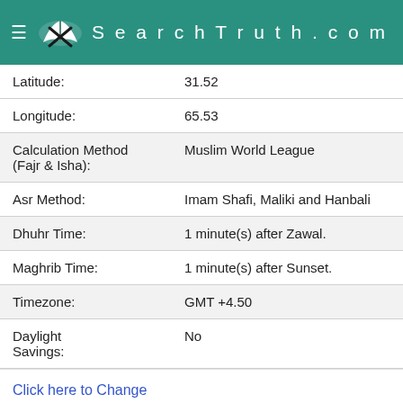SearchTruth.com
| Field | Value |
| --- | --- |
| Latitude: | 31.52 |
| Longitude: | 65.53 |
| Calculation Method (Fajr & Isha): | Muslim World League |
| Asr Method: | Imam Shafi, Maliki and Hanbali |
| Dhuhr Time: | 1 minute(s) after Zawal. |
| Maghrib Time: | 1 minute(s) after Sunset. |
| Timezone: | GMT +4.50 |
| Daylight Savings: | No |
Click here to Change